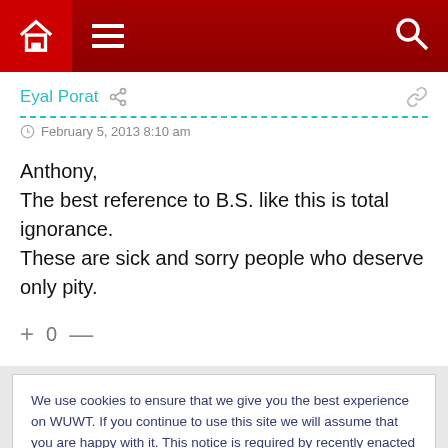[Figure (screenshot): Website navigation bar with home icon, hamburger menu icon, and search icon on dark red background]
Eyal Porat
February 5, 2013 8:10 am
Anthony,
The best reference to B.S. like this is total ignorance.
These are sick and sorry people who deserve only pity.
+ 0 —
We use cookies to ensure that we give you the best experience on WUWT. If you continue to use this site we will assume that you are happy with it. This notice is required by recently enacted EU GDPR rules, and since WUWT is a globally read website, we need to keep the bureaucrats off our case! Cookie Policy
Close and accept
+ 0 —